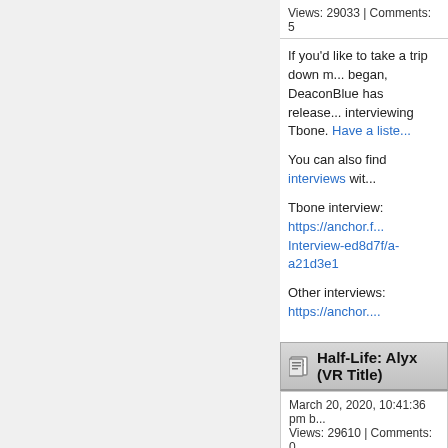Views: 29033 | Comments: 5
If you'd like to take a trip down memory lane to when it all began, DeaconBlue has released a podcast of him interviewing Tbone. Have a liste...
You can also find interviews with...
Tbone interview: https://anchor.f.../Interview-ed8d7f/a-a21d3e1
Other interviews: https://anchor....
Half-Life: Alyx (VR Title)
March 20, 2020, 10:41:36 pm by...
Views: 29610 | Comments: 0
You can now load the 48 GBs o... play until this Monday at 1 p.m. ... anything else to do and are stu... game on the Rift, Rift S, Quest+... well.